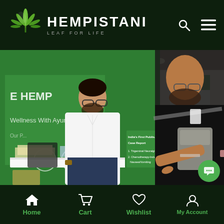[Figure (logo): Hempistani logo with green cannabis leaf icon and text HEMPISTANI LEAF FOR LIFE on dark background header]
[Figure (photo): Exhibition booth photo showing a man in white shirt standing at a green hemp wellness booth, another person pointing at a sign reading India's First Published Case Report: 1. Trigeminal Neuralgia 2. Chemotherapy-Induced Nausea/Vomiting]
Home  Cart  Wishlist  My Account